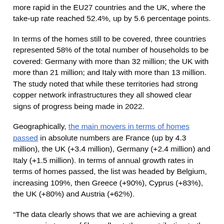more rapid in the EU27 countries and the UK, where the take-up rate reached 52.4%, up by 5.6 percentage points.
In terms of the homes still to be covered, three countries represented 58% of the total number of households to be covered: Germany with more than 32 million; the UK with more than 21 million; and Italy with more than 13 million. The study noted that while these territories had strong copper network infrastructures they all showed clear signs of progress being made in 2022.
Geographically, the main movers in terms of homes passed in absolute numbers are France (up by 4.3 million), the UK (+3.4 million), Germany (+2.4 million) and Italy (+1.5 million). In terms of annual growth rates in terms of homes passed, the list was headed by Belgium, increasing 109%, then Greece (+90%), Cyprus (+83%), the UK (+80%) and Austria (+62%).
“The data clearly shows that we are achieving a great progress in terms of fibre roll-out, thus contributing to the twin digital and green transition which will reshape how